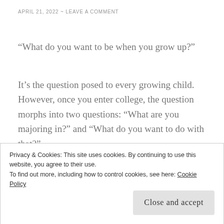APRIL 21, 2022 ~ LEAVE A COMMENT
“What do you want to be when you grow up?”
It’s the question posed to every growing child. However, once you enter college, the question morphs into two questions: “What are you majoring in?” and “What do you want to do with that?”
I majored in English, and I can’t even begin to count the number of times I was told the degree was
Privacy & Cookies: This site uses cookies. By continuing to use this website, you agree to their use.
To find out more, including how to control cookies, see here: Cookie Policy
Close and accept